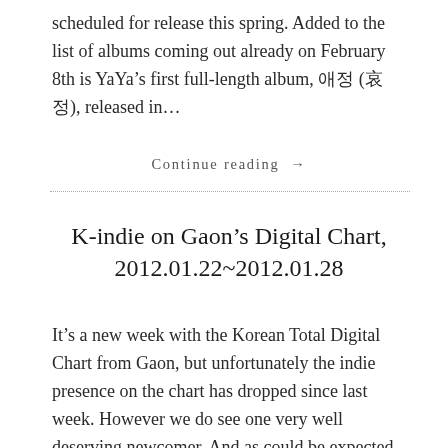scheduled for release this spring. Added to the list of albums coming out already on February 8th is YaYa’s first full-length album, 애정 (哀정), released in…
Continue reading →
K-indie on Gaon’s Digital Chart, 2012.01.22~2012.01.28
It’s a new week with the Korean Total Digital Chart from Gaon, but unfortunately the indie presence on the chart has dropped since last week. However we do see one very well deserving newcomer. And as could be expected with the late release of OK Punk!’s 2NE1 cover, the song in question has done a…